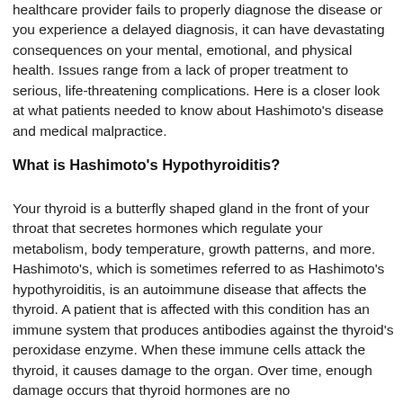healthcare provider fails to properly diagnose the disease or you experience a delayed diagnosis, it can have devastating consequences on your mental, emotional, and physical health. Issues range from a lack of proper treatment to serious, life-threatening complications. Here is a closer look at what patients needed to know about Hashimoto's disease and medical malpractice.
What is Hashimoto's Hypothyroiditis?
Your thyroid is a butterfly shaped gland in the front of your throat that secretes hormones which regulate your metabolism, body temperature, growth patterns, and more. Hashimoto's, which is sometimes referred to as Hashimoto's hypothyroiditis, is an autoimmune disease that affects the thyroid. A patient that is affected with this condition has an immune system that produces antibodies against the thyroid's peroxidase enzyme. When these immune cells attack the thyroid, it causes damage to the organ. Over time, enough damage occurs that thyroid hormones are no longer produced as they should. Over the years, it leads to...